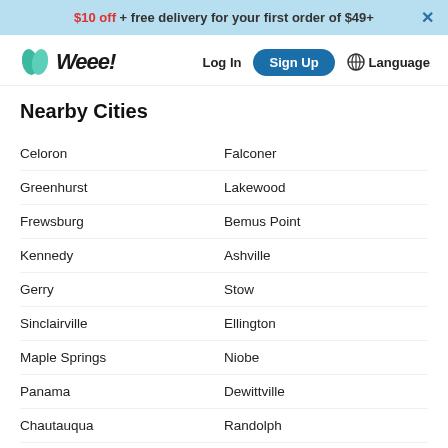$10 off + free delivery for your first order of $49+
[Figure (logo): Weee! grocery delivery logo with teal leaf icon]
Nearby Cities
Celoron
Falconer
Greenhurst
Lakewood
Frewsburg
Bemus Point
Kennedy
Ashville
Gerry
Stow
Sinclairville
Ellington
Maple Springs
Niobe
Panama
Dewittville
Chautauqua
Randolph
Frewsburg (partial)
Cassadaga Valley (partial)